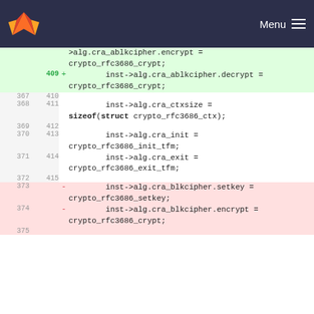Menu
[Figure (screenshot): GitLab code diff view showing changes to crypto RFC3686 cipher code. Lines 367-374 shown with additions (green) and removals (red). Added line 409: inst->alg.cra_ablkcipher.decrypt = crypto_rfc3686_crypt; Normal lines 367-372/410-415 showing inst->alg.cra_ctxsize = sizeof(struct crypto_rfc3686_ctx), inst->alg.cra_init = crypto_rfc3686_init_tfm, inst->alg.cra_exit = crypto_rfc3686_exit_tfm. Removed lines 373-374: inst->alg.cra_blkcipher.setkey = crypto_rfc3686_setkey and inst->alg.cra_blkcipher.encrypt = crypto_rfc3686_crypt.]